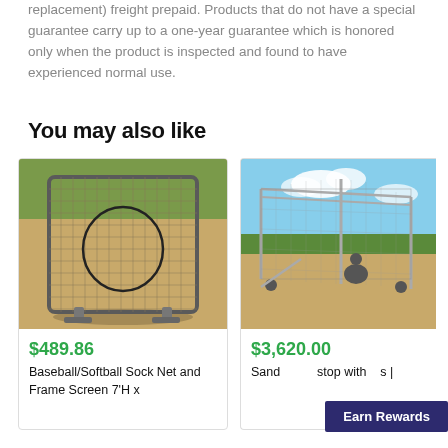replacement) freight prepaid. Products that do not have a special guarantee carry up to a one-year guarantee which is honored only when the product is inspected and found to have experienced normal use.
You may also like
[Figure (photo): Baseball/Softball Sock Net and Frame Screen product photo - a square net with frame on dirt field]
$489.86
Baseball/Softball Sock Net and Frame Screen 7'H x
[Figure (photo): Sand backstop product photo - large batting cage structure with player crouching on baseball field]
$3,620.00
Sand backstop with ... s |
Earn Rewards